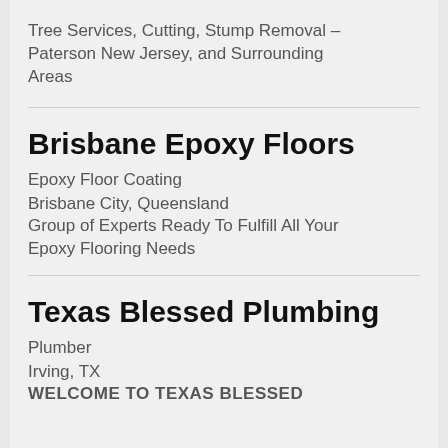Tree Services, Cutting, Stump Removal – Paterson New Jersey, and Surrounding Areas
Brisbane Epoxy Floors
Epoxy Floor Coating
Brisbane City, Queensland
Group of Experts Ready To Fulfill All Your Epoxy Flooring Needs
Texas Blessed Plumbing
Plumber
Irving, TX
WELCOME TO TEXAS BLESSED